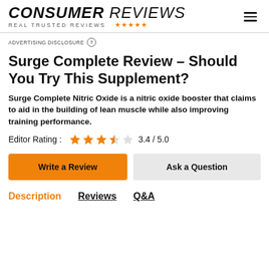CONSUMER REVIEWS — REAL TRUSTED REVIEWS
ADVERTISING DISCLOSURE
Surge Complete Review – Should You Try This Supplement?
Surge Complete Nitric Oxide is a nitric oxide booster that claims to aid in the building of lean muscle while also improving training performance.
Editor Rating : 3.4 / 5.0
Write a Review | Ask a Question
Description | Reviews | Q&A